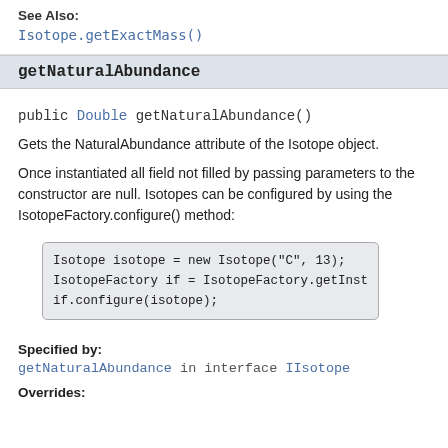See Also:
Isotope.getExactMass()
getNaturalAbundance
public Double getNaturalAbundance()
Gets the NaturalAbundance attribute of the Isotope object.
Once instantiated all field not filled by passing parameters to the constructor are null. Isotopes can be configured by using the IsotopeFactory.configure() method:
Isotope isotope = new Isotope("C", 13);
IsotopeFactory if = IsotopeFactory.getInst
if.configure(isotope);
Specified by:
getNaturalAbundance in interface IIsotope
Overrides: